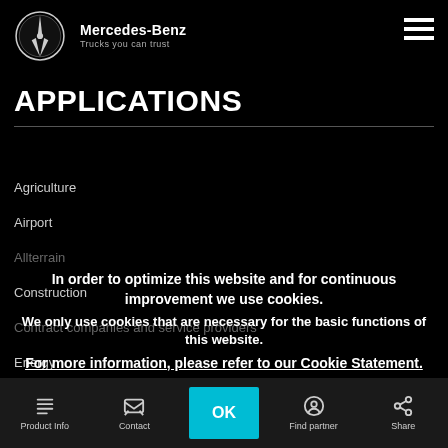[Figure (logo): Mercedes-Benz three-pointed star logo (circle with star) and brand name 'Mercedes-Benz' with tagline 'Trucks you can trust', plus hamburger menu icon top right]
APPLICATIONS
Agriculture
Airport
Allterrain
Construction
Contract companies and service providers
Energy
Firefighting
In order to optimize this website and for continuous improvement we use cookies.
We only use cookies that are necessary for the basic functions of this website.
For more information, please refer to our Cookie Statement.
Product Info   Contact   Newsletter   Find partner   Share